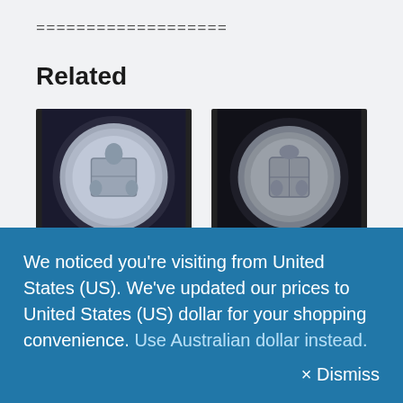===================
Related
[Figure (photo): Coin image: Australia 1934 florin reverse showing Australian coat of arms]
Australia 1934 florin – VF (XF45)
June 8, 2022
[Figure (photo): Coin image: Australia Florin 1939 reverse showing royal coat of arms]
Australia Florin 1939 toned – aEF (AU53-55)
June 29, 2022
We noticed you're visiting from United States (US). We've updated our prices to United States (US) dollar for your shopping convenience. Use Australian dollar instead.
× Dismiss